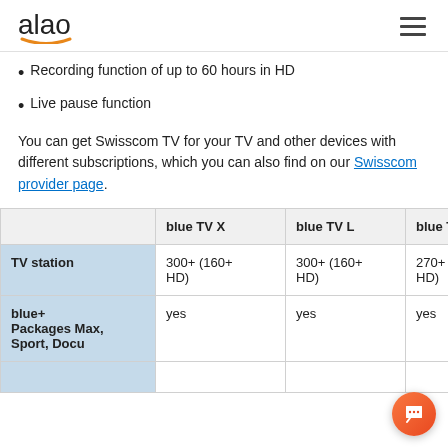alao
Recording function of up to 60 hours in HD
Live pause function
You can get Swisscom TV for your TV and other devices with different subscriptions, which you can also find on our Swisscom provider page.
|  | blue TV X | blue TV L | blue TV |
| --- | --- | --- | --- |
| TV station | 300+ (160+ HD) | 300+ (160+ HD) | 270+ (1 HD) |
| blue+ Packages Max, Sport, Docu | yes | yes | yes |
|  |  |  |  |